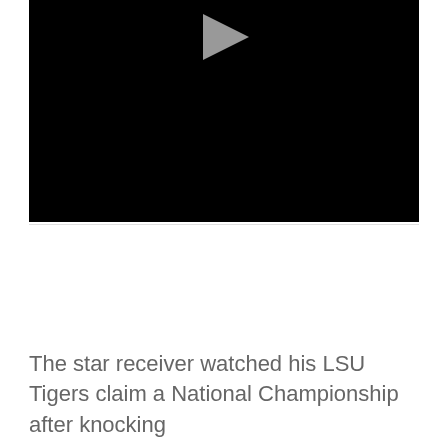[Figure (screenshot): Black video player thumbnail with a light gray play button triangle at the top center]
The star receiver watched his LSU Tigers claim a National Championship after knocking